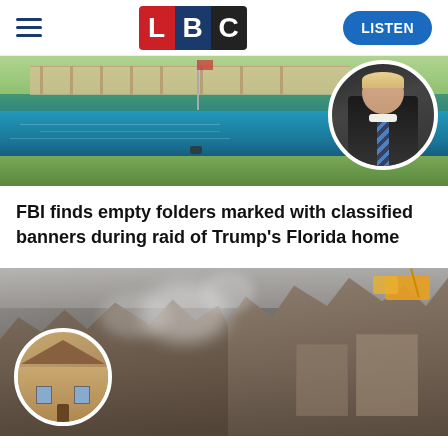LBC | LISTEN
[Figure (photo): Aerial or waterfront view of Trump's Mar-a-Lago property in Florida with water in foreground and trees/buildings in background; circular inset portrait of a man in a dark suit and striped tie]
FBI finds empty folders marked with classified banners during raid of Trump's Florida home
[Figure (photo): Aerial photograph of heavily damaged and destroyed buildings with smoke visible, appearing to be aftermath of fire or explosion; circular inset showing an undamaged brick building before the incident; yellow construction vehicle visible at top right]